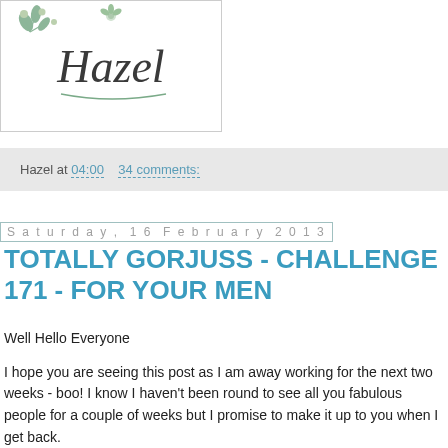[Figure (logo): Decorative blog logo with floral/botanical elements and cursive text reading 'Hazel']
Hazel at 04:00   34 comments:
Saturday, 16 February 2013
TOTALLY GORJUSS - CHALLENGE 171 - FOR YOUR MEN
Well Hello Everyone
I hope you are seeing this post as I am away working for the next two weeks - boo!  I know I haven't been round to see all you fabulous people for a couple of weeks but I promise to make it up to you when I get back.
I would like to give a great big "HELLO" to my new follower Lisiane - thank you for choosing to come and look at my little creative spot I am very flattered.